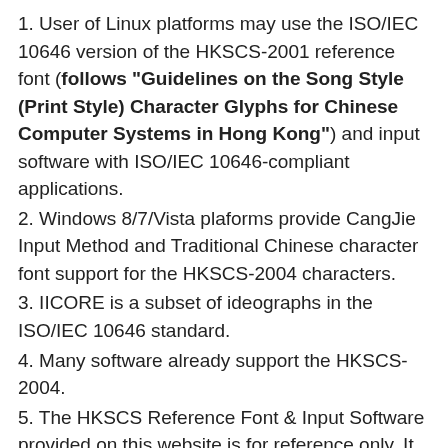1. User of Linux platforms may use the ISO/IEC 10646 version of the HKSCS-2001 reference font (follows "Guidelines on the Song Style (Print Style) Character Glyphs for Chinese Computer Systems in Hong Kong") and input software with ISO/IEC 10646-compliant applications.
2. Windows 8/7/Vista plaforms provide CangJie Input Method and Traditional Chinese character font support for the HKSCS-2004 characters.
3. IICORE is a subset of ideographs in the ISO/IEC 10646 standard.
4. Many software already support the HKSCS-2004.
5. The HKSCS Reference Font & Input Software provided on this website is for reference only. It is designed for general reference and can facilitate the user to understand HKSCS information.